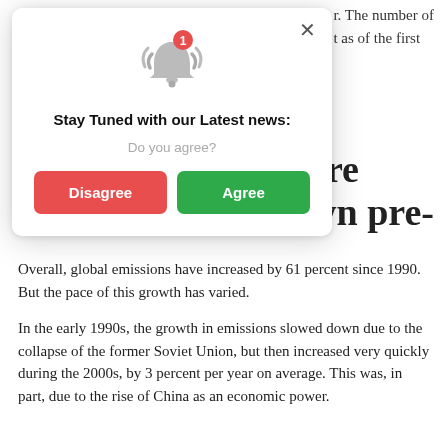r. The number of t as of the first
[Figure (screenshot): A modal notification popup with a bell icon with red badge showing '1', titled 'Stay Tuned with our Latest news:', subtitle 'Do you agree?', and two buttons: red 'Disagree' and green 'Agree', with an X close button.]
ere
wn pre-
Overall, global emissions have increased by 61 percent since 1990. But the pace of this growth has varied.
In the early 1990s, the growth in emissions slowed down due to the collapse of the former Soviet Union, but then increased very quickly during the 2000s, by 3 percent per year on average. This was, in part, due to the rise of China as an economic power.